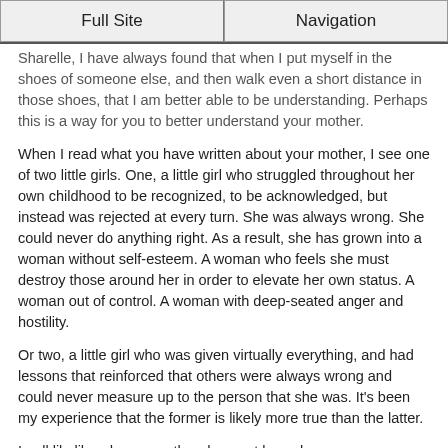Full Site | Navigation
Sharelle, I have always found that when I put myself in the shoes of someone else, and then walk even a short distance in those shoes, that I am better able to be understanding. Perhaps this is a way for you to better understand your mother.
When I read what you have written about your mother, I see one of two little girls. One, a little girl who struggled throughout her own childhood to be recognized, to be acknowledged, but instead was rejected at every turn. She was always wrong. She could never do anything right. As a result, she has grown into a woman without self-esteem. A woman who feels she must destroy those around her in order to elevate her own status. A woman out of control. A woman with deep-seated anger and hostility.
Or two, a little girl who was given virtually everything, and had lessons that reinforced that others were always wrong and could never measure up to the person that she was. It's been my experience that the former is likely more true than the latter.
In all likelihood, your mother does not know how